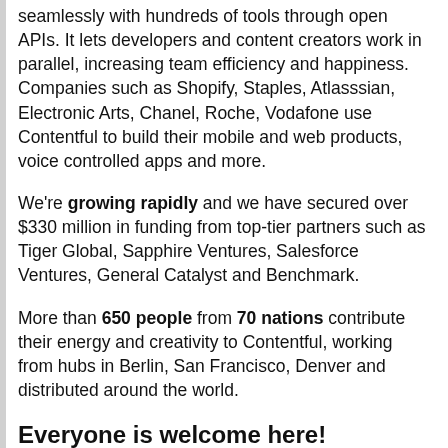seamlessly with hundreds of tools through open APIs. It lets developers and content creators work in parallel, increasing team efficiency and happiness. Companies such as Shopify, Staples, Atlasssian, Electronic Arts, Chanel, Roche, Vodafone use Contentful to build their mobile and web products, voice controlled apps and more.
We're growing rapidly and we have secured over $330 million in funding from top-tier partners such as Tiger Global, Sapphire Ventures, Salesforce Ventures, General Catalyst and Benchmark.
More than 650 people from 70 nations contribute their energy and creativity to Contentful, working from hubs in Berlin, San Francisco, Denver and distributed around the world.
Everyone is welcome here!
“Everyone is welcome here” is a celebrated component of our culture. At Contentful, we strive to